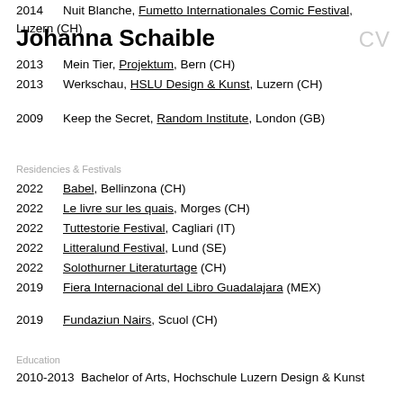Johanna Schaible  CV
2014  Nuit Blanche, Fumetto Internationales Comic Festival, Luzern (CH)
2013  Mein Tier, Projektum, Bern (CH)
2013  Werkschau, HSLU Design & Kunst, Luzern (CH)
2009  Keep the Secret, Random Institute, London (GB)
Residencies & Festivals
2022  Babel, Bellinzona (CH)
2022  Le livre sur les quais, Morges (CH)
2022  Tuttestorie Festival, Cagliari (IT)
2022  Litteralund Festival, Lund (SE)
2022  Solothurner Literaturtage (CH)
2019  Fiera Internacional del Libro Guadalajara (MEX)
2019  Fundaziun Nairs, Scuol (CH)
Education
2010-2013  Bachelor of Arts, Hochschule Luzern Design & Kunst